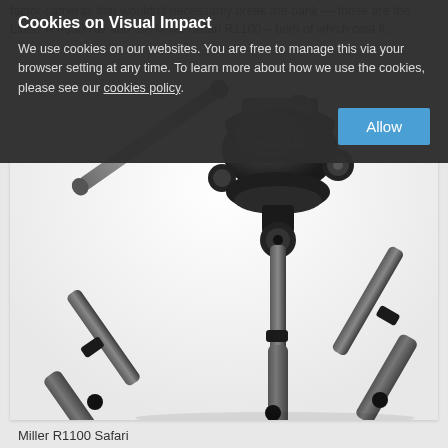factor cameras that wouldn't necessarily break the bank — those are the Libec TH-650 HD and the Miller Safari R1100 – both of which cost li...
[Figure (photo): Close-up photo of a Miller R1100 Safari tripod head and legs on white background, showing the fluid head with 'SAFARI' branding, pan handle, and spread tripod legs with foam grips.]
Miller R1100 Safari
Cookies on Visual Impact
We use cookies on our websites. You are free to manage this via your browser setting at any time. To learn more about how we use the cookies, please see our cookies policy.